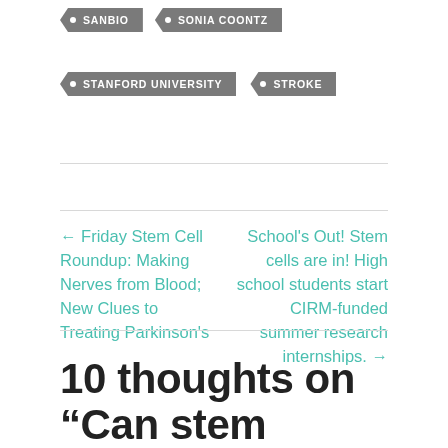• SANBIO
• SONIA COONTZ
• STANFORD UNIVERSITY
• STROKE
← Friday Stem Cell Roundup: Making Nerves from Blood; New Clues to Treating Parkinson's
School's Out! Stem cells are in! High school students start CIRM-funded summer research internships. →
10 thoughts on “Can stem